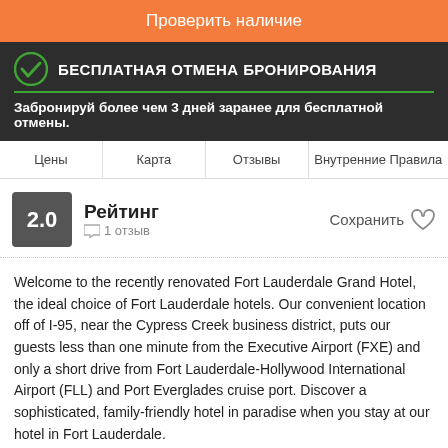Проверить наличие
БЕСПЛАТНАЯ ОТМЕНА БРОНИРОВАНИЯ
Забронируй более чем 3 дней заранее для бесплатной отмены.
Цены | Карта | Отзывы | Внутренние Правила
2.0 Рейтинг 1 отзыв Сохранить
Welcome to the recently renovated Fort Lauderdale Grand Hotel, the ideal choice of Fort Lauderdale hotels. Our convenient location off of I-95, near the Cypress Creek business district, puts our guests less than one minute from the Executive Airport (FXE) and only a short drive from Fort Lauderdale-Hollywood International Airport (FLL) and Port Everglades cruise port. Discover a sophisticated, family-friendly hotel in paradise when you stay at our hotel in Fort Lauderdale.
Fort Lauderdale Grand Hotel is proud to be a non-smoking and pet-friendly hotel! Our rooms and location are ideal for both corporate